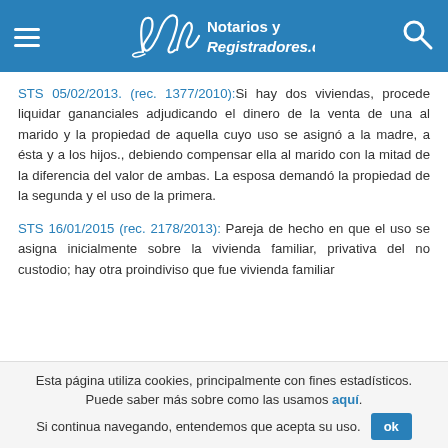Notarios y Registradores.com
STS 05/02/2013. (rec. 1377/2010):Si hay dos viviendas, procede liquidar gananciales adjudicando el dinero de la venta de una al marido y la propiedad de aquella cuyo uso se asignó a la madre, a ésta y a los hijos., debiendo compensar ella al marido con la mitad de la diferencia del valor de ambas. La esposa demandó la propiedad de la segunda y el uso de la primera.
STS 16/01/2015 (rec. 2178/2013): Pareja de hecho en que el uso se asigna inicialmente sobre la vivienda familiar, privativa del no custodio; hay otra proindiviso que fue vivienda familiar
Esta página utiliza cookies, principalmente con fines estadísticos. Puede saber más sobre como las usamos aquí. Si continua navegando, entendemos que acepta su uso.